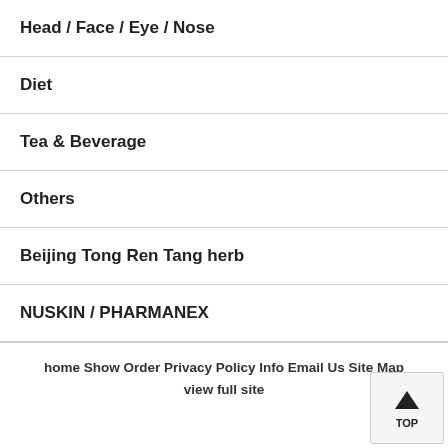Head / Face / Eye / Nose
Diet
Tea & Beverage
Others
Beijing Tong Ren Tang herb
NUSKIN / PHARMANEX
home Show Order Privacy Policy Info Email Us Site Map view full site